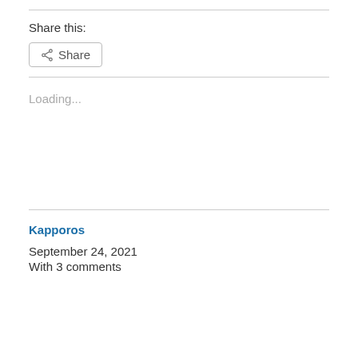Share this:
Share
Loading...
Kapporos
September 24, 2021
With 3 comments